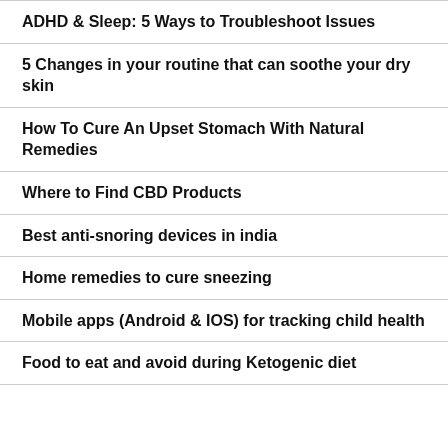ADHD & Sleep: 5 Ways to Troubleshoot Issues
5 Changes in your routine that can soothe your dry skin
How To Cure An Upset Stomach With Natural Remedies
Where to Find CBD Products
Best anti-snoring devices in india
Home remedies to cure sneezing
Mobile apps (Android & IOS) for tracking child health
Food to eat and avoid during Ketogenic diet